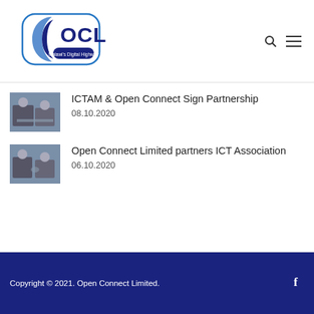[Figure (logo): OCL Open Connect Limited logo with text 'Malawi's Digital Highway']
ICTAM & Open Connect Sign Partnership
08.10.2020
[Figure (photo): Photo of two men at a desk signing a document]
Open Connect Limited partners ICT Association
06.10.2020
[Figure (photo): Photo of two men shaking hands / exchanging a document]
Copyright © 2021. Open Connect Limited.